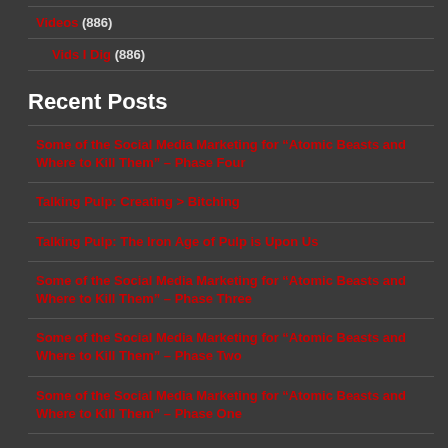Video Game Review (201)
Videos (886)
Vids I Dig (886)
Recent Posts
Some of the Social Media Marketing for “Atomic Beasts and Where to Kill Them” – Phase Four
Talking Pulp: Creating > Bitching
Talking Pulp: The Iron Age of Pulp is Upon Us
Some of the Social Media Marketing for “Atomic Beasts and Where to Kill Them” – Phase Three
Some of the Social Media Marketing for “Atomic Beasts and Where to Kill Them” – Phase Two
Some of the Social Media Marketing for “Atomic Beasts and Where to Kill Them” – Phase One